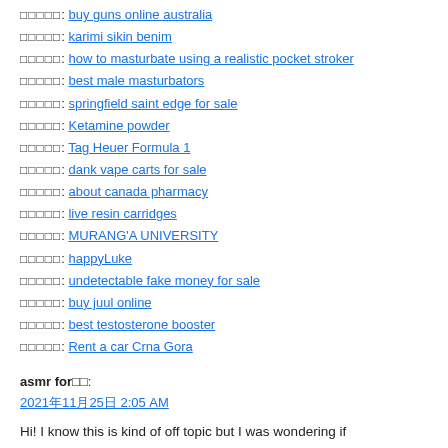□□□□□: buy guns online australia
□□□□□: karimi sikin benim
□□□□□: how to masturbate using a realistic pocket stroker
□□□□□: best male masturbators
□□□□□: springfield saint edge for sale
□□□□□: Ketamine powder
□□□□□: Tag Heuer Formula 1
□□□□□: dank vape carts for sale
□□□□□: about canada pharmacy
□□□□□: live resin carridges
□□□□□: MURANG'A UNIVERSITY
□□□□□: happyLuke
□□□□□: undetectable fake money for sale
□□□□□: buy juul online
□□□□□: best testosterone booster
□□□□□: Rent a car Crna Gora
asmr for □□: 2021年11月25日 2:05 AM
Hi! I know this is kind of off topic but I was wondering if you knew where I could find a captcha plugin for my